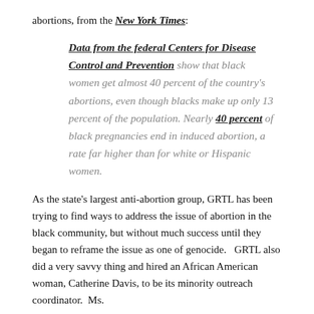abortions, from the New York Times:
Data from the federal Centers for Disease Control and Prevention show that black women get almost 40 percent of the country’s abortions, even though blacks make up only 13 percent of the population. Nearly 40 percent of black pregnancies end in induced abortion, a rate far higher than for white or Hispanic women.
As the state’s largest anti-abortion group, GRTL has been trying to find ways to address the issue of abortion in the black community, but without much success until they began to reframe the issue as one of genocide.   GRTL also did a very savvy thing and hired an African American woman, Catherine Davis, to be its minority outreach coordinator.  Ms.